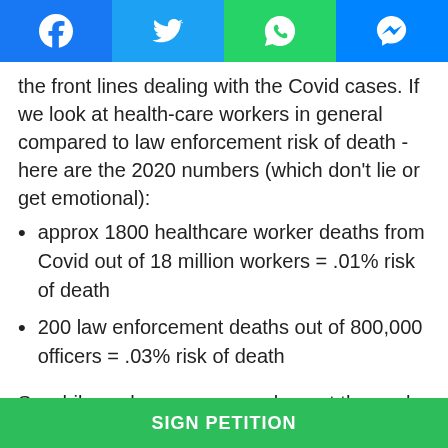Social share bar with Facebook, Twitter, WhatsApp, Messenger icons
the front lines dealing with the Covid cases. If we look at health-care workers in general compared to law enforcement risk of death - here are the 2020 numbers (which don't lie or get emotional):
approx 1800 healthcare worker deaths from Covid out of 18 million workers = .01% risk of death
200 law enforcement deaths out of 800,000 officers = .03% risk of death
So while we honor every worker out there who has sacrificed their life to serve the public, we
SIGN PETITION